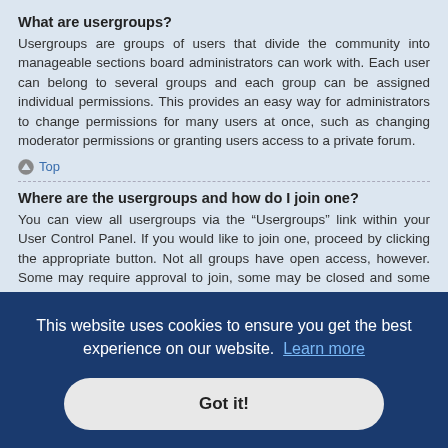What are usergroups?
Usergroups are groups of users that divide the community into manageable sections board administrators can work with. Each user can belong to several groups and each group can be assigned individual permissions. This provides an easy way for administrators to change permissions for many users at once, such as changing moderator permissions or granting users access to a private forum.
Top
Where are the usergroups and how do I join one?
You can view all usergroups via the “Usergroups” link within your User Control Panel. If you would like to join one, proceed by clicking the appropriate button. Not all groups have open access, however. Some may require approval to join, some may be closed and some may even have hidden memberships. If the group is open, you can join it by clicking the appropriate button. If a group requires approval to join you may request to join by clicking the appropriate button. The user group leader will need to approve your request and may ask why you want to join the group. Please do not harass a group leader if they refuse your request; it is their right to do so.
A usergroup leader is usually assigned when usergroups are initially created by a board administrator. If you are interested in creating a usergroup, your
[Figure (other): Cookie consent banner overlay with text: 'This website uses cookies to ensure you get the best experience on our website. Learn more' and a 'Got it!' button]